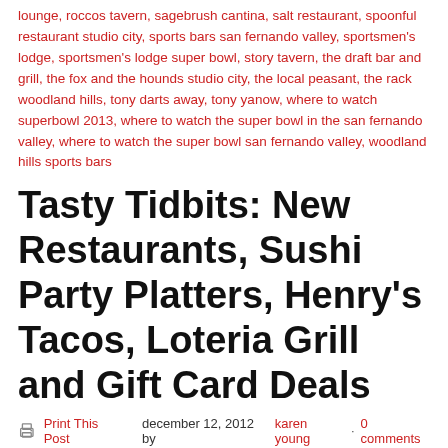lounge, roccos tavern, sagebrush cantina, salt restaurant, spoonful restaurant studio city, sports bars san fernando valley, sportsmen's lodge, sportsmen's lodge super bowl, story tavern, the draft bar and grill, the fox and the hounds studio city, the local peasant, the rack woodland hills, tony darts away, tony yanow, where to watch superbowl 2013, where to watch the super bowl in the san fernando valley, where to watch the super bowl san fernando valley, woodland hills sports bars
Tasty Tidbits: New Restaurants, Sushi Party Platters, Henry's Tacos, Loteria Grill and Gift Card Deals
Print This Post  december 12, 2012 by karen young · 0 comments